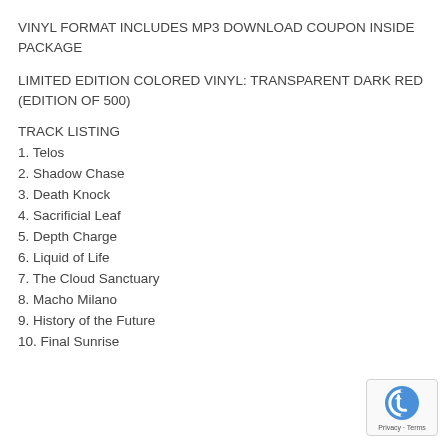VINYL FORMAT INCLUDES MP3 DOWNLOAD COUPON INSIDE PACKAGE
LIMITED EDITION COLORED VINYL: TRANSPARENT DARK RED (EDITION OF 500)
TRACK LISTING
1. Telos
2. Shadow Chase
3. Death Knock
4. Sacrificial Leaf
5. Depth Charge
6. Liquid of Life
7. The Cloud Sanctuary
8. Macho Milano
9. History of the Future
10. Final Sunrise